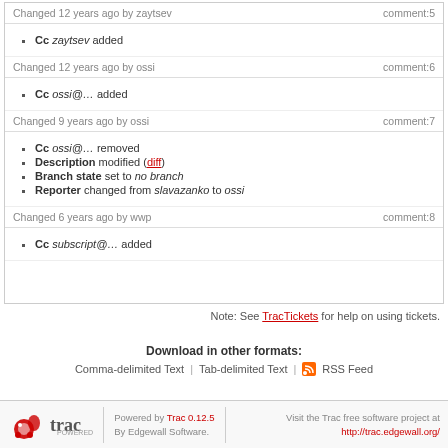Changed 12 years ago by zaytsev  comment:5
Cc zaytsev added
Changed 12 years ago by ossi  comment:6
Cc ossi@… added
Changed 9 years ago by ossi  comment:7
Cc ossi@… removed
Description modified (diff)
Branch state set to no branch
Reporter changed from slavazanko to ossi
Changed 6 years ago by wwp  comment:8
Cc subscript@… added
Note: See TracTickets for help on using tickets.
Download in other formats:
Comma-delimited Text | Tab-delimited Text | RSS Feed
Powered by Trac 0.12.5  By Edgewall Software.  Visit the Trac free software project at http://trac.edgewall.org/